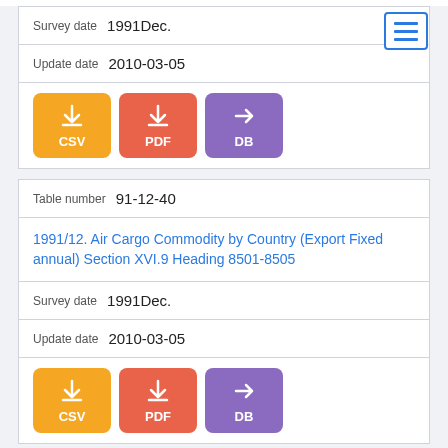Survey date  1991Dec.
Update date  2010-03-05
[Figure (infographic): Three download buttons: CSV (orange), PDF (red-orange), DB (purple)]
Table number 91-12-40
1991/12. Air Cargo Commodity by Country (Export Fixed annual) Section XVI.9 Heading 8501-8505
Survey date  1991Dec.
Update date  2010-03-05
[Figure (infographic): Three download buttons: CSV (orange), PDF (red-orange), DB (purple)]
Table number 91-12-41